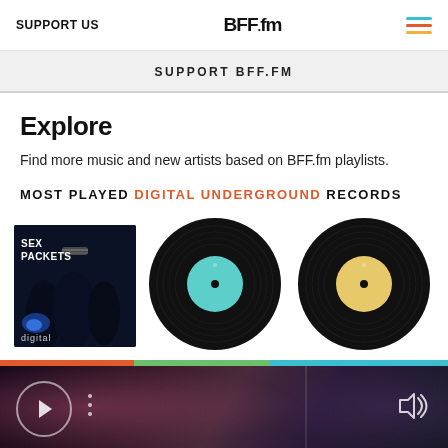SUPPORT US | BFF.fm
SUPPORT BFF.FM
Explore
Find more music and new artists based on BFF.fm playlists.
MOST PLAYED DIGITAL UNDERGROUND RECORDS
[Figure (illustration): Three vinyl records and an album cover for Digital Underground 'Sex Packets'. First item is the album artwork showing group members with blue lighting and text 'SEX PACKETS' and 'digital'. Second is a vinyl record with teal/turquoise center label. Third is a vinyl record with yellow/cream center label.]
[Figure (screenshot): Media player bar at bottom showing play button, three-dot menu, and volume icon on a dark blurred background with a colored stripe at top in orange, green, and teal.]